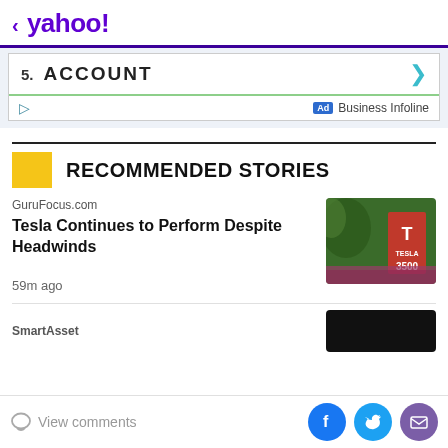< yahoo!
[Figure (screenshot): Advertisement banner showing '5. ACCOUNT' text with a teal arrow, green underline, play button icon, Ad label, and 'Business Infoline' text]
RECOMMENDED STORIES
GuruFocus.com
Tesla Continues to Perform Despite Headwinds
[Figure (photo): Photo of a Tesla sign (red, with Tesla T logo) showing '3500' number, surrounded by green trees and red/purple flowers]
59m ago
SmartAsset
View comments